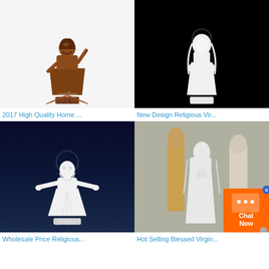[Figure (photo): Bronze-colored religious statue of Jesus with raised hand on white background, watermark text 'youfine']
2017 High Quality Home ...
[Figure (photo): White marble statue of Virgin Mary on black background, watermark text 'youfine']
New Design Religious Vir...
[Figure (photo): White marble statue of Jesus with arms outstretched on dark starry background, watermark text 'youfine']
Wholesale Price Religious...
[Figure (photo): Group of white marble and stone religious statues in a workshop setting, including Virgin Mary figure]
Hot Selling Blessed Virgin...